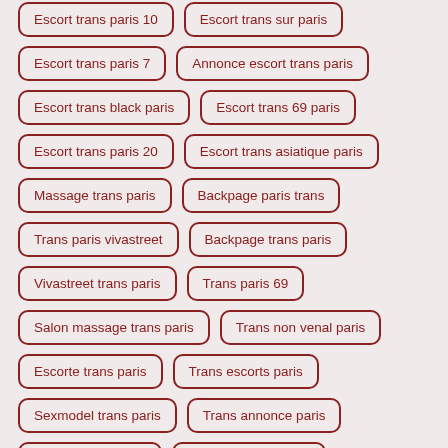Escort trans paris 10
Escort trans sur paris
Escort trans paris 7
Annonce escort trans paris
Escort trans black paris
Escort trans 69 paris
Escort trans paris 20
Escort trans asiatique paris
Massage trans paris
Backpage paris trans
Trans paris vivastreet
Backpage trans paris
Vivastreet trans paris
Trans paris 69
Salon massage trans paris
Trans non venal paris
Escorte trans paris
Trans escorts paris
Sexmodel trans paris
Trans annonce paris
Escorts trans paris
Trans paris annonce